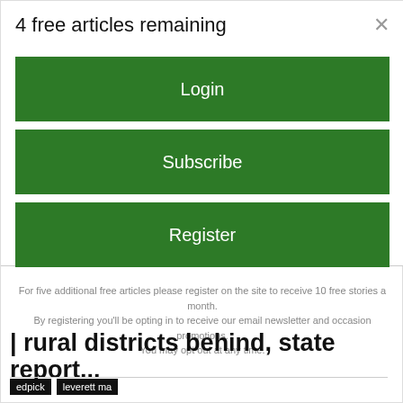4 free articles remaining
Login
Subscribe
Register
For five additional free articles please register on the site to receive 10 free stories a month. By registering you'll be opting in to receive our email newsletter and occasion promotions. You may opt out at any time.
| rural districts behind, state report...
edpick
leverett ma